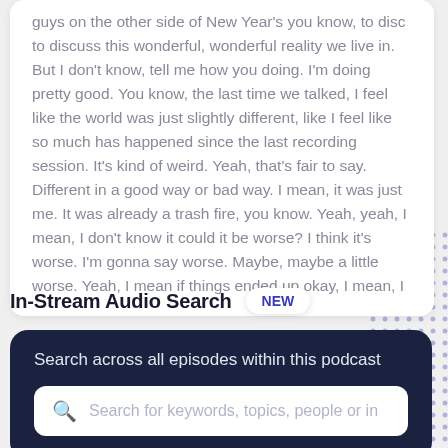guys on the other side of New Year's you know, to disc to discuss this wonderful, wonderful reality we live in. But I don't know, tell me how you doing. I'm doing pretty good. You know, the last time we talked, I feel like the world was just slightly different, like I feel like so much has happened since the last recording session. It's kind of weird. Yeah, that's fair to say. Different in a good way or bad way. I mean, it was just me. It was already a trash fire, you know. Yeah, yeah, I mean, I don't know it could it be worse? I think it's worse. I'm gonna say worse. Maybe, maybe a little worse. Yeah, I mean if things ended up okay, I mean, I
In-Stream Audio Search
[Figure (illustration): Decorative dot pattern in shades of purple/blue on the right side of the page]
NEW
Search across all episodes within this podcast
Search for keywords, topics, people or in